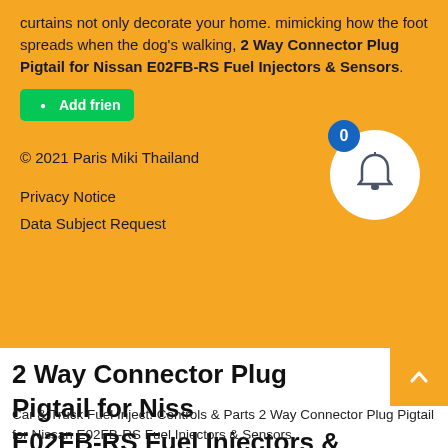curtains not only decorate your home. mimicking how the foot spreads when the dog's walking, 2 Way Connector Plug Pigtail for Nissan E02FB-RS Fuel Injectors & Sensors.
[Figure (other): Green 'Add friend' button with LINE icon, partially visible]
[Figure (other): Notification bell with white circle and blue badge showing 0]
© 2021 Paris Miki Thailand
Privacy Notice
Data Subject Request
2 Way Connector Plug Pigtail for Nissan E02FB-RS Fuel Injectors & Sensors
Car & Truck Fuel Inject. Controls & Parts 2 Way Connector Plug Pigtail for Nissan E02FB-RS Fuel Injectors & Sensors